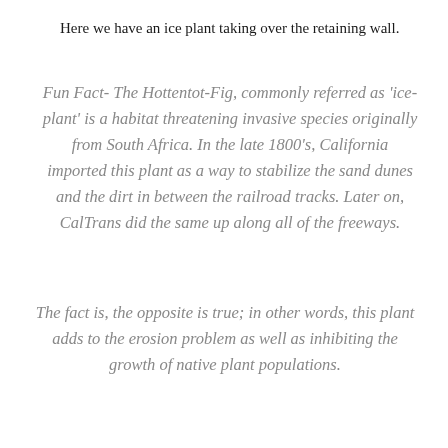Here we have an ice plant taking over the retaining wall.
Fun Fact- The Hottentot-Fig, commonly referred as 'ice-plant' is a habitat threatening invasive species originally from South Africa. In the late 1800's, California imported this plant as a way to stabilize the sand dunes and the dirt in between the railroad tracks. Later on, CalTrans did the same up along all of the freeways.
The fact is, the opposite is true; in other words, this plant adds to the erosion problem as well as inhibiting the growth of native plant populations.